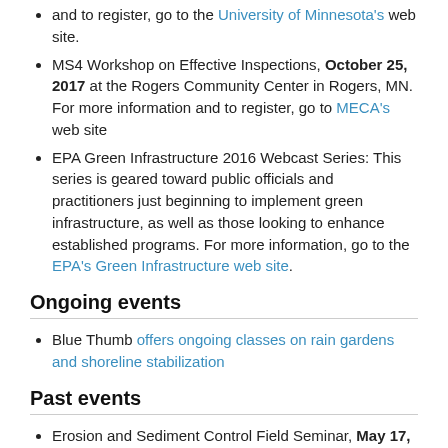and to register, go to the University of Minnesota's web site.
MS4 Workshop on Effective Inspections, October 25, 2017 at the Rogers Community Center in Rogers, MN. For more information and to register, go to MECA's web site
EPA Green Infrastructure 2016 Webcast Series: This series is geared toward public officials and practitioners just beginning to implement green infrastructure, as well as those looking to enhance established programs. For more information, go to the EPA's Green Infrastructure web site.
Ongoing events
Blue Thumb offers ongoing classes on rain gardens and shoreline stabilization
Past events
Erosion and Sediment Control Field Seminar, May 17, 2017 in Jordan Minnesota. For more information and to register, go to MECA's web site
Stormwater Practice Maintenance Certification Workshop: May 8-9, 2017 at the Minnesota Landscape Arboretum